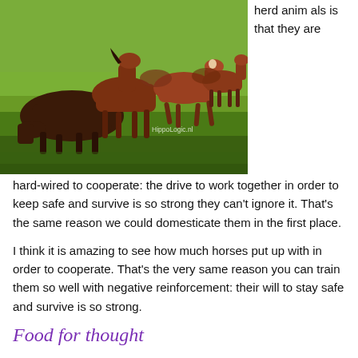[Figure (photo): A herd of brown horses running through a green grassy field, with a watermark reading HippoLogic.nl in the lower right corner.]
herd animals is that they are hard-wired to cooperate: the drive to work together in order to keep safe and survive is so strong they can't ignore it. That's the same reason we could domesticate them in the first place.
I think it is amazing to see how much horses put up with in order to cooperate. That's the very same reason you can train them so well with negative reinforcement: their will to stay safe and survive is so strong.
Food for thought
Anyway this fact was food for thought for me. What about you?